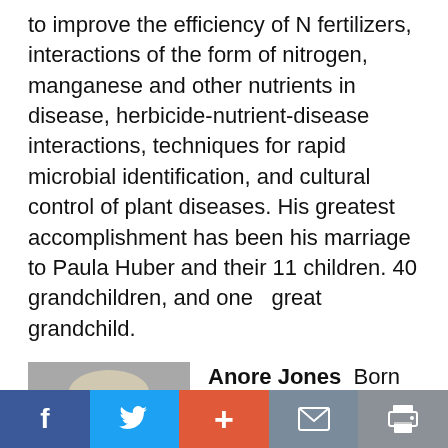to improve the efficiency of N fertilizers, interactions of the form of nitrogen, manganese and other nutrients in disease, herbicide-nutrient-disease interactions, techniques for rapid microbial identification, and cultural control of plant diseases. His greatest accomplishment has been his marriage to Paula Huber and their 11 children. 40 grandchildren, and one  great grandchild.
[Figure (photo): Black and white photo of Anore Jones, an older woman with light hair, smiling slightly.]
Anore Jones  Born in 1941, Anore Bucknell grew up a city girl in Los Angeles until 9, then moved to a primitive
f  [Twitter bird]  +  [mail icon]  [print icon]